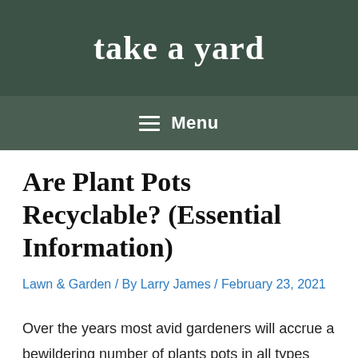take a yard
Menu
Are Plant Pots Recyclable? (Essential Information)
Lawn & Garden / By Larry James / February 23, 2021
Over the years most avid gardeners will accrue a bewildering number of plants pots in all types and sizes – from ceramic to plastic. So what can you